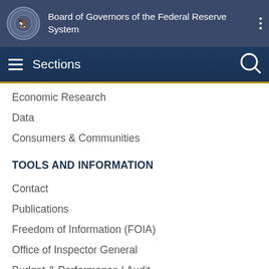Board of Governors of the Federal Reserve System
Sections
Economic Research
Data
Consumers & Communities
TOOLS AND INFORMATION
Contact
Publications
Freedom of Information (FOIA)
Office of Inspector General
Budget & Performance | Audit
No FEAR Act